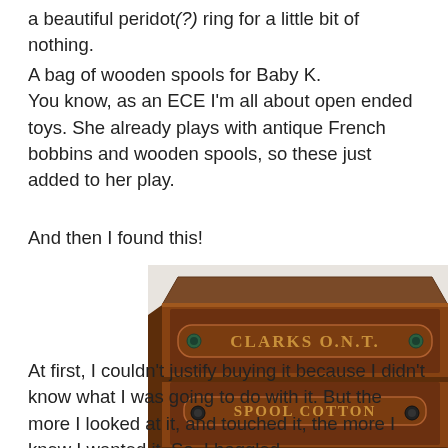a beautiful peridot(?) ring for a little bit of nothing.
A bag of wooden spools for Baby K.
You know, as an ECE I'm all about open ended toys. She already plays with antique French bobbins and wooden spools, so these just added to her play.
And then I found this!
[Figure (photo): Antique wooden spool cabinet with two drawers labeled 'CLARKS O.N.T.' and 'SPOOL COTTON']
At first, I couldn't justify buying it because I didn't know what I was going to do with it. But the more I looked at it, and touched it, the more I knew I wanted it. So, I haggled